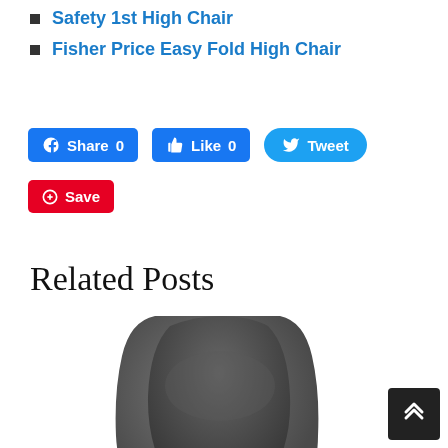Safety 1st High Chair
Fisher Price Easy Fold High Chair
[Figure (infographic): Social sharing buttons: Facebook Share 0, Like 0, Twitter Tweet, Pinterest Save]
Related Posts
[Figure (photo): Photo of a dark grey office/high chair with armrests, partial view showing backrest and armrests]